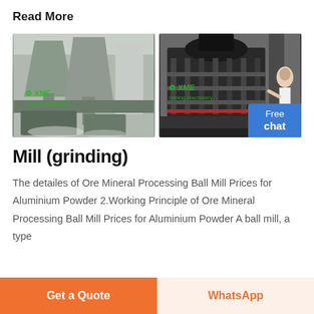Read More
[Figure (photo): Two industrial machines: left shows a ball mill / powder processing plant with hoppers and silos (XME watermark), right shows a large crusher/grinding machine (XME watermark) with a woman in white pointing at it and a blue 'Free chat' button overlay.]
Mill (grinding)
The detailes of Ore Mineral Processing Ball Mill Prices for Aluminium Powder 2.Working Principle of Ore Mineral Processing Ball Mill Prices for Aluminium Powder A ball mill, a type
Get a Quote | WhatsApp